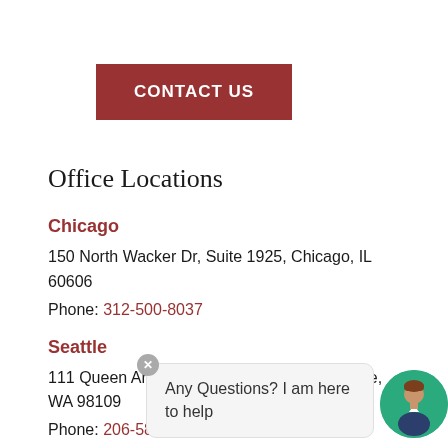CONTACT US
Office Locations
Chicago
150 North Wacker Dr, Suite 1925, Chicago, IL 60606
Phone: 312-500-8037
Seattle
111 Queen Anne Ave North. Suite 201. Seattle, WA 98109
Phone: 206-585-...
[Figure (illustration): Chat widget overlay with close button, speech bubble saying 'Any Questions? I am here to help', and circular avatar of a person in business attire on a teal background]